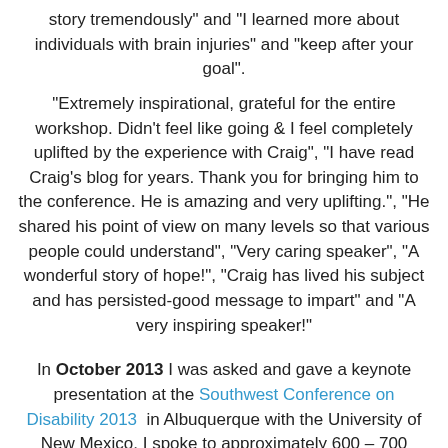story tremendously" and "I learned more about individuals with brain injuries" and "keep after your goal".
"Extremely inspirational, grateful for the entire workshop. Didn't feel like going & I feel completely uplifted by the experience with Craig", "I have read Craig's blog for years. Thank you for bringing him to the conference. He is amazing and very uplifting.", "He shared his point of view on many levels so that various people could understand", "Very caring speaker", "A wonderful story of hope!", "Craig has lived his subject and has persisted-good message to impart" and "A very inspiring speaker!"
In October 2013 I was asked and gave a keynote presentation at the Southwest Conference on Disability 2013 in Albuquerque with the University of New Mexico. I spoke to approximately 600 – 700 individuals.